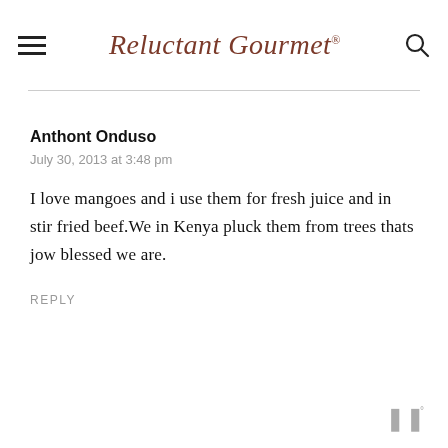Reluctant Gourmet
Anthont Onduso
July 30, 2013 at 3:48 pm
I love mangoes and i use them for fresh juice and in stir fried beef.We in Kenya pluck them from trees thats jow blessed we are.
REPLY